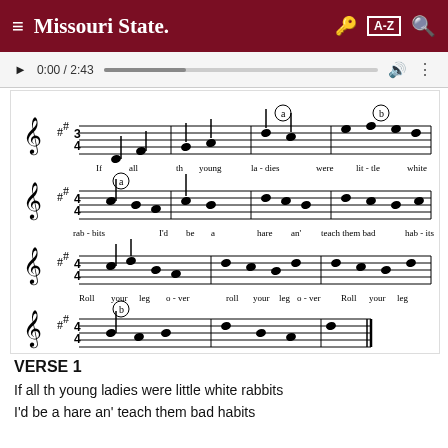≡ Missouri State. [key icon] [A-Z] [search icon]
[Figure (other): Audio player bar showing 0:00 / 2:43 with progress bar, volume and more options icons]
[Figure (other): Sheet music notation for a folk song 'Roll Your Leg Over' showing four lines of bass clef notation with lyrics: 'If all th young la-dies were lit-tle white rab-bits I'd be a hare an' teach them bad hab-its Roll your leg o-ver roll your leg o-ver Roll your leg o-ver th man in th moon'. Footnotes: a: D-sharp frequently appears here in later verses. b: This note is sometimes sung as a G-sharp in later verses.]
VERSE 1
If all th young ladies were little white rabbits
I'd be a hare an' teach them bad habits